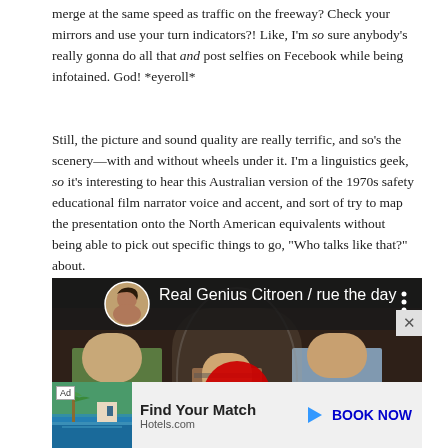merge at the same speed as traffic on the freeway? Check your mirrors and use your turn indicators?! Like, I'm so sure anybody's really gonna do all that and post selfies on Fecebook while being infotained. God! *eyeroll*
Still, the picture and sound quality are really terrific, and so's the scenery—with and without wheels under it. I'm a linguistics geek, so it's interesting to hear this Australian version of the 1970s safety educational film narrator voice and accent, and sort of try to map the presentation onto the North American equivalents without being able to pick out specific things to go, "Who talks like that?" about.
[Figure (screenshot): YouTube video embed showing 'Real Genius Citroen / rue the day' with a thumbnail of three people in a scene, a red YouTube play button, and a circular avatar in the top left corner.]
[Figure (screenshot): Hotels.com advertisement banner with 'Ad' label, tropical resort image, 'Find Your Match' text, Hotels.com branding, and 'BOOK NOW' call to action button.]